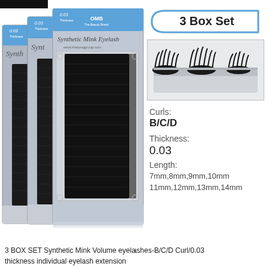[Figure (photo): Three boxes of Synthetic Mink Eyelash extensions stacked at angles, showing the black lashes arranged in trays with decorative silver packaging]
3 Box Set
[Figure (photo): Close-up photo of eyelash extension clusters arranged in a white tray, showing fluffy volume lash fans]
Curls:
B/C/D
Thickness:
0.03
Length:
7mm,8mm,9mm,10mm
11mm,12mm,13mm,14mm
3 BOX SET Synthetic Mink Volume eyelashes-B/C/D Curl/0.03 thickness individual eyelash extension